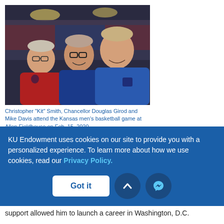[Figure (photo): Three men posing for a selfie at a basketball game in Allen Fieldhouse. Left man in red sweater, middle man in blue KU jacket, right man in blue KU shirt.]
Christopher "Kit" Smith, Chancellor Douglas Girod and Mike Davis attend the Kansas men's basketball game at Allen Fieldhouse on Feb. 15, 2020.
When Michael Davis was a professor at the University of Kansas School of Law in 1971, he made a big impression on
KU Endowment uses cookies on our site to provide you with a personalized experience. To learn more about how we use cookies, read our Privacy Policy.
support allowed him to launch a career in Washington, D.C.